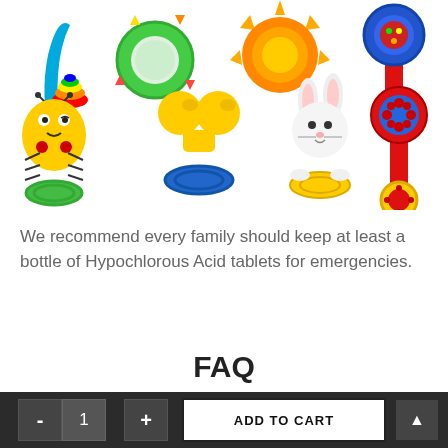[Figure (photo): Collection of colorful baby rattles and teething toys on white background, including rainbow ring rattle, green ring teether, orange sun rattle, blue cylinder rattle, yellow ladybug rattle, yellow-blue Mickey-style rattle, white bunny teether, and red kaleidoscope rattle]
We recommend every family should keep at least a bottle of Hypochlorous Acid tablets for emergencies.
FAQ
- 1 + ADD TO CART ▲